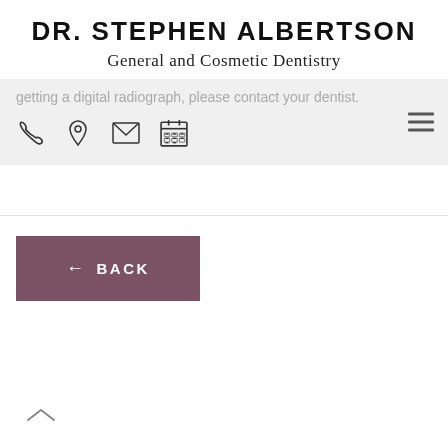DR. STEPHEN ALBERTSON
General and Cosmetic Dentistry
getting a digital radiograph, please contact your dentist.
[Figure (screenshot): Navigation bar with phone, location pin, envelope, and calendar icons, plus hamburger menu icon on right]
[Figure (other): Back button - dark mauve/purple rectangle with left arrow and text BACK]
[Figure (other): Chevron/caret up arrow at bottom left]